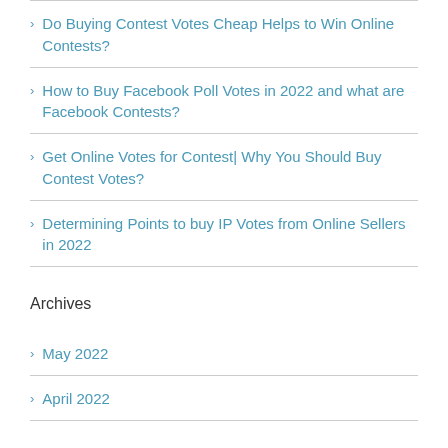Do Buying Contest Votes Cheap Helps to Win Online Contests?
How to Buy Facebook Poll Votes in 2022 and what are Facebook Contests?
Get Online Votes for Contest| Why You Should Buy Contest Votes?
Determining Points to buy IP Votes from Online Sellers in 2022
Archives
May 2022
April 2022